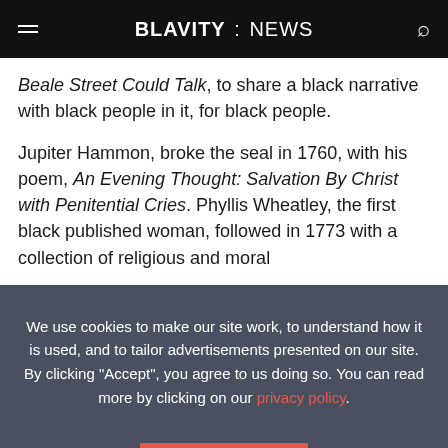BLAVITY : NEWS
Beale Street Could Talk, to share a black narrative with black people in it, for black people.
Jupiter Hammon, broke the seal in 1760, with his poem, An Evening Thought: Salvation By Christ with Penitential Cries. Phyllis Wheatley, the first black published woman, followed in 1773 with a collection of religious and moral
We use cookies to make our site work, to understand how it is used, and to tailor advertisements presented on our site. By clicking "Accept", you agree to us doing so. You can read more by clicking on our privacy policy.
Accept